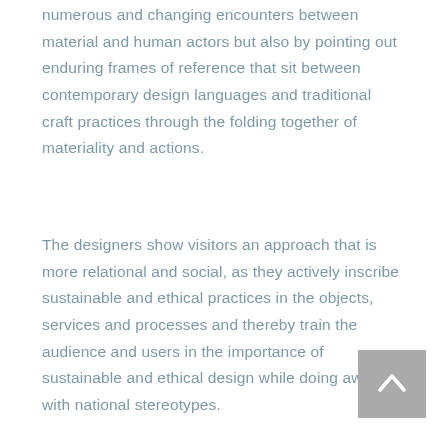numerous and changing encounters between material and human actors but also by pointing out enduring frames of reference that sit between contemporary design languages and traditional craft practices through the folding together of materiality and actions.
The designers show visitors an approach that is more relational and social, as they actively inscribe sustainable and ethical practices in the objects, services and processes and thereby train the audience and users in the importance of sustainable and ethical design while doing away with national stereotypes.